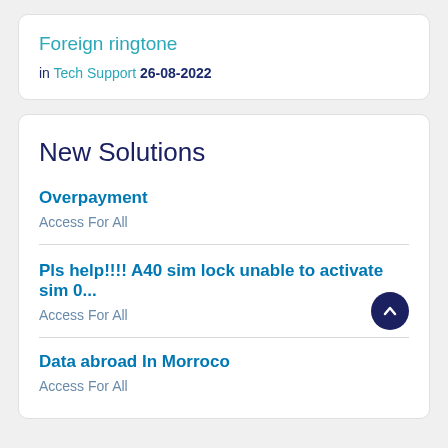Foreign ringtone
in Tech Support 26-08-2022
New Solutions
Overpayment
Access For All
Pls help!!!! A40 sim lock unable to activate sim 0...
Access For All
Data abroad In Morroco
Access For All